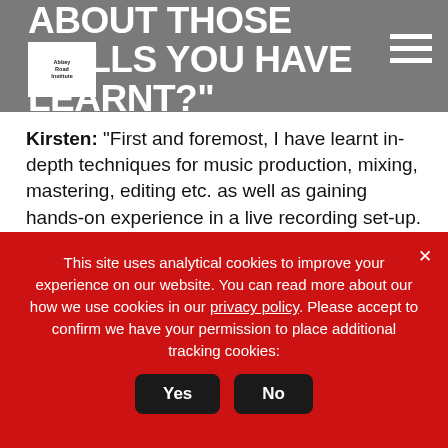ABOUT THOSE SKILLS YOU HAVE LEARNT?"
Kirsten: “First and foremost, I have learnt in-depth techniques for music production, mixing, mastering, editing etc. as well as gaining hands-on experience in a live recording set-up. We’ve also explored interesting and relevant topics such as electronics, acoustics, film sound and music history. The thing that has benefitted my personal career significantly is the business module. It’s given me a great outline to approach my professional career once the course is done. Often after people study, they are kind of left in the dark about how to start a career
This site uses analytical cookies to improve your experience on our website. You can read more about our how we use cookies in our privacy policy. Please accept to confirm we have your permission to place additional tracking cookies: